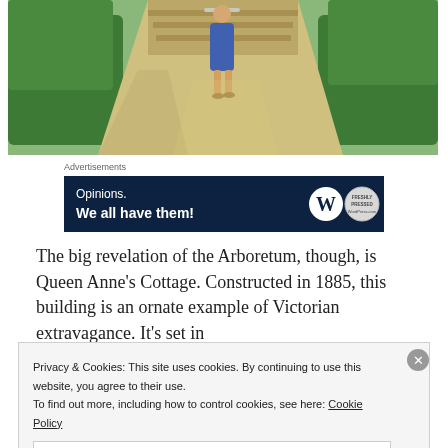[Figure (photo): Photo of a person in a blue floral dress walking on a stone pathway flanked by manicured green hedges, with steps visible in the background.]
Advertisements
[Figure (other): Advertisement banner with dark navy background reading 'Opinions. We all have them!' with WordPress and another circular logo on the right.]
The big revelation of the Arboretum, though, is Queen Anne's Cottage. Constructed in 1885, this building is an ornate example of Victorian extravagance. It's set in
Privacy & Cookies: This site uses cookies. By continuing to use this website, you agree to their use.
To find out more, including how to control cookies, see here: Cookie Policy
Close and accept